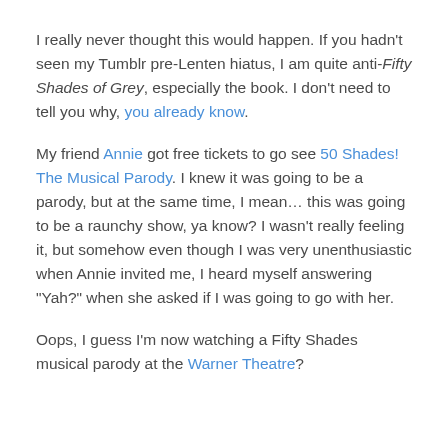I really never thought this would happen. If you hadn't seen my Tumblr pre-Lenten hiatus, I am quite anti-Fifty Shades of Grey, especially the book. I don't need to tell you why, you already know.
My friend Annie got free tickets to go see 50 Shades! The Musical Parody. I knew it was going to be a parody, but at the same time, I mean… this was going to be a raunchy show, ya know? I wasn't really feeling it, but somehow even though I was very unenthusiastic when Annie invited me, I heard myself answering "Yah?" when she asked if I was going to go with her.
Oops, I guess I'm now watching a Fifty Shades musical parody at the Warner Theatre?